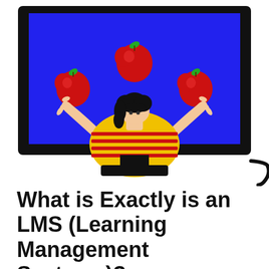[Figure (illustration): A person in a yellow and red striped shirt juggling three red apples, shown on a black TV/monitor screen with a blue background. The monitor has a stand and a cable extending to the right.]
What is Exactly is an LMS (Learning Management Systems)?